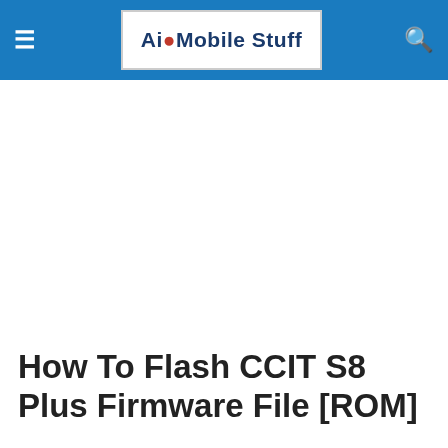Ai Mobile Stuff
[Figure (other): Advertisement / blank white space placeholder]
How To Flash CCIT S8 Plus Firmware File [ROM]